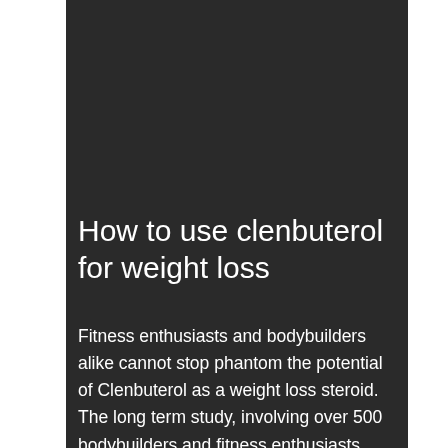How to use clenbuterol for weight loss
Fitness enthusiasts and bodybuilders alike cannot stop phantom the potential of Clenbuterol as a weight loss steroid. The long term study, involving over 500 bodybuilders and fitness enthusiasts (both active and "sleeping", and bodybuilding and fitness enthusiasts). This may reveal a major difference between the effect Clenbuterol has on bodybuilders and on the active and